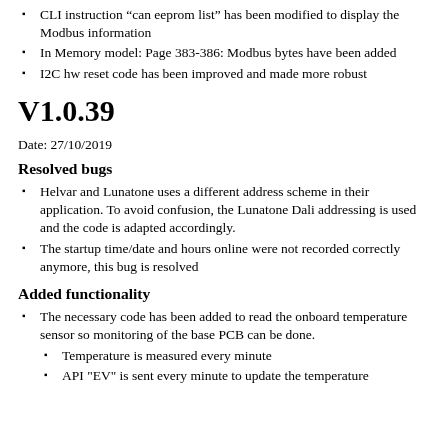CLI instruction “can eeprom list” has been modified to display the Modbus information
In Memory model: Page 383-386: Modbus bytes have been added
I2C hw reset code has been improved and made more robust
V1.0.39
Date: 27/10/2019
Resolved bugs
Helvar and Lunatone uses a different address scheme in their application. To avoid confusion, the Lunatone Dali addressing is used and the code is adapted accordingly.
The startup time/date and hours online were not recorded correctly anymore, this bug is resolved
Added functionality
The necessary code has been added to read the onboard temperature sensor so monitoring of the base PCB can be done.
Temperature is measured every minute
API "EV" is sent every minute to update the temperature